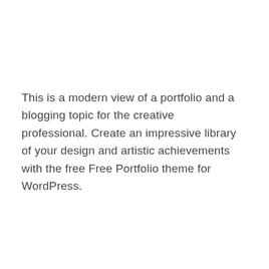This is a modern view of a portfolio and a blogging topic for the creative professional. Create an impressive library of your design and artistic achievements with the free Free Portfolio theme for WordPress.